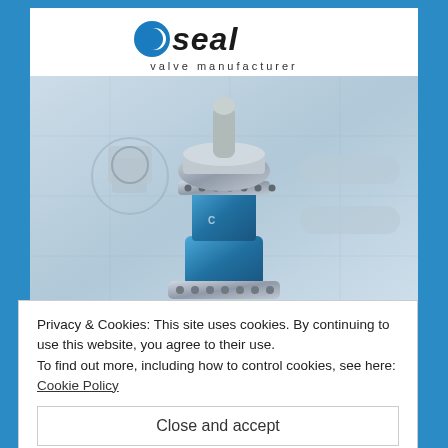[Figure (logo): CSeal valve manufacturer logo with blue C circle and italic text]
[Figure (photo): 3D rendered blue industrial double block and bleed valve on engineering blueprint background with industrial piping]
Privacy & Cookies: This site uses cookies. By continuing to use this website, you agree to their use.
To find out more, including how to control cookies, see here:
Cookie Policy
Close and accept
DOUBLE BLOCK AND BLEED VALVES